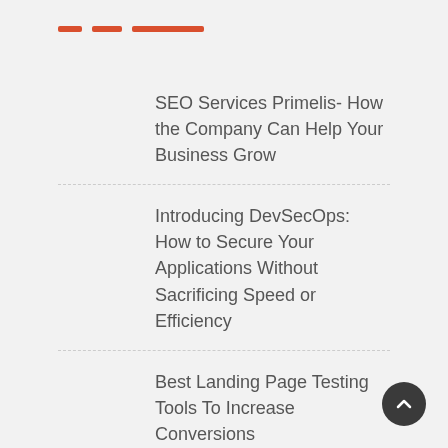[Figure (other): Three horizontal red dashes/lines of varying lengths used as decorative element]
SEO Services Primelis- How the Company Can Help Your Business Grow
Introducing DevSecOps: How to Secure Your Applications Without Sacrificing Speed or Efficiency
Best Landing Page Testing Tools To Increase Conversions